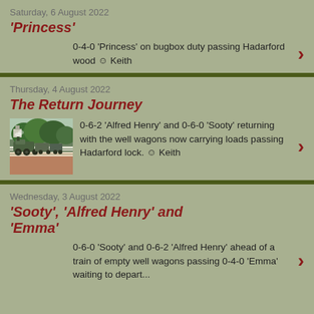Saturday, 6 August 2022
'Princess'
0-4-0 'Princess' on bugbox duty passing Hadarford wood ☺ Keith
Thursday, 4 August 2022
The Return Journey
[Figure (photo): Green steam locomotive with wagons passing trees and a platform area at Hadarford lock]
0-6-2 'Alfred Henry' and 0-6-0 'Sooty' returning with the well wagons now carrying loads passing Hadarford lock. ☺ Keith
Wednesday, 3 August 2022
'Sooty', 'Alfred Henry' and 'Emma'
0-6-0 'Sooty' and 0-6-2 'Alfred Henry' ahead of a train of empty well wagons passing 0-4-0 'Emma' waiting to depart...